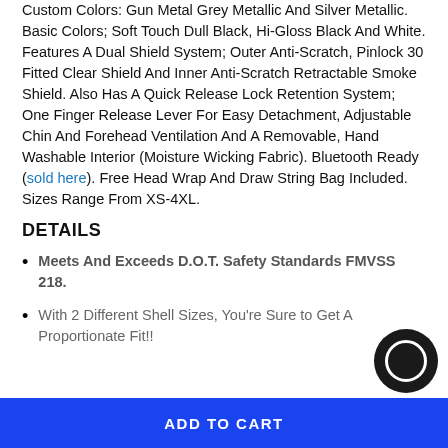Custom Colors: Gun Metal Grey Metallic And Silver Metallic.  Basic Colors; Soft Touch Dull Black, Hi-Gloss Black And White.  Features A Dual Shield System; Outer Anti-Scratch, Pinlock 30 Fitted Clear Shield And Inner Anti-Scratch Retractable Smoke Shield.  Also Has A Quick Release Lock Retention System; One Finger Release Lever For Easy Detachment, Adjustable Chin And Forehead Ventilation And A Removable, Hand Washable Interior (Moisture Wicking Fabric).  Bluetooth Ready (sold here).  Free Head Wrap And Draw String Bag Included.  Sizes Range From XS-4XL.
DETAILS
Meets And Exceeds D.O.T. Safety Standards FMVSS 218.
With 2 Different Shell Sizes, You're Sure to Get A Proportionate Fit!!
ADD TO CART